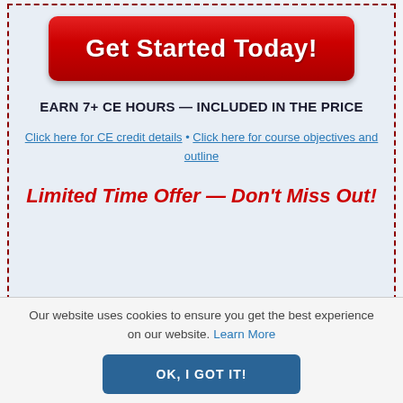[Figure (other): Red 'Get Started Today!' button]
EARN 7+ CE HOURS — INCLUDED IN THE PRICE
Click here for CE credit details • Click here for course objectives and outline
Limited Time Offer — Don't Miss Out!
Our website uses cookies to ensure you get the best experience on our website. Learn More
OK, I GOT IT!